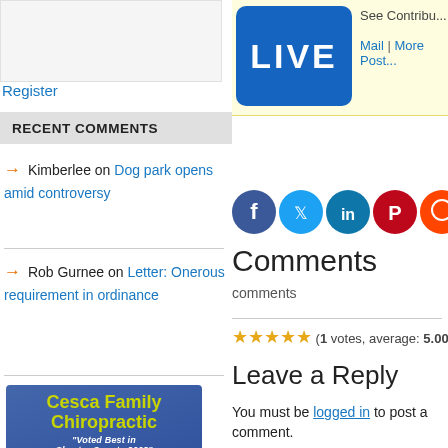Register
RECENT COMMENTS
Kimberlee on Dog park opens amid controversy
Rob Gurnee on Letter: Onerous requirement in ordinance
[Figure (photo): Cesca Family Chiropractic advertisement - Voted Best in Chester County 2008 - Philadelphia Inquirer - 610-558-8992 - www.disc911.com - www.cescafamilychiro.com]
[Figure (logo): LIVE logo - blue rounded rectangle with white LIVE text]
See Contribu...
Mail | More Post...
[Figure (infographic): Social sharing icons: Facebook, Twitter, LinkedIn, Pinterest, Reddit, Mix, Email]
Comments
comments
(1 votes, average: 5.00 out of 5)
Leave a Reply
You must be logged in to post a comment.